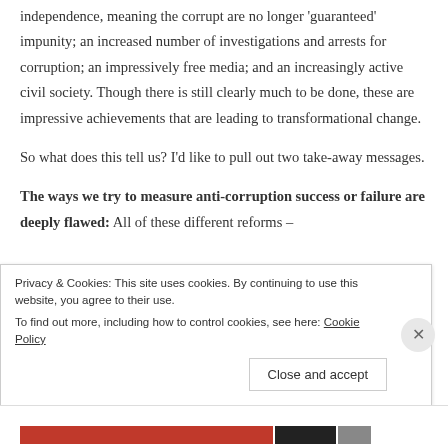independence, meaning the corrupt are no longer 'guaranteed' impunity; an increased number of investigations and arrests for corruption; an impressively free media; and an increasingly active civil society. Though there is still clearly much to be done, these are impressive achievements that are leading to transformational change.
So what does this tell us? I'd like to pull out two take-away messages.
The ways we try to measure anti-corruption success or failure are deeply flawed: All of these different reforms –
Privacy & Cookies: This site uses cookies. By continuing to use this website, you agree to their use.
To find out more, including how to control cookies, see here: Cookie Policy